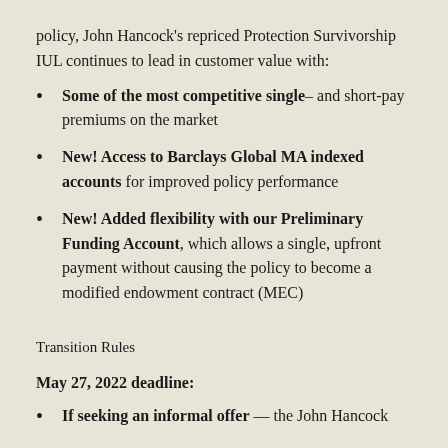policy, John Hancock's repriced Protection Survivorship IUL continues to lead in customer value with:
Some of the most competitive single– and short-pay premiums on the market
New! Access to Barclays Global MA indexed accounts for improved policy performance
New! Added flexibility with our Preliminary Funding Account, which allows a single, upfront payment without causing the policy to become a modified endowment contract (MEC)
Transition Rules
May 27, 2022 deadline:
If seeking an informal offer — the John Hancock